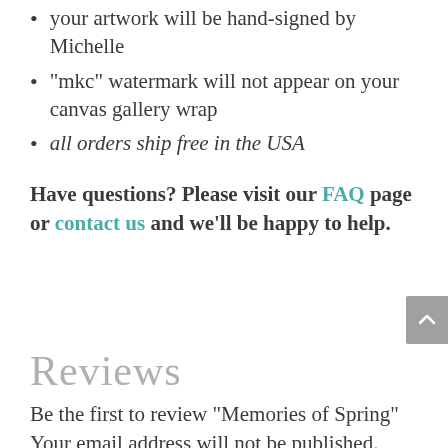your artwork will be hand-signed by Michelle
"mkc" watermark will not appear on your canvas gallery wrap
all orders ship free in the USA
Have questions? Please visit our FAQ page or contact us and we'll be happy to help.
Reviews
Be the first to review “Memories of Spring” Your email address will not be published.